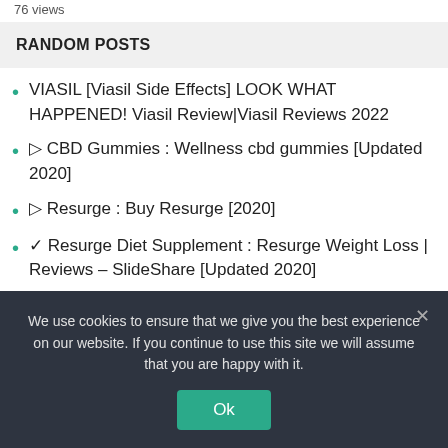76 views
RANDOM POSTS
VIASIL [Viasil Side Effects] LOOK WHAT HAPPENED! Viasil Review|Viasil Reviews 2022
▷ CBD Gummies : Wellness cbd gummies [Updated 2020]
▷ Resurge : Buy Resurge [2020]
✓ Resurge Diet Supplement : Resurge Weight Loss | Reviews – SlideShare [Updated 2020]
TESTOSTERONE BOOSTERS|| GHC MARS|| Item Review Medically|| SEE BEFORE USE
We use cookies to ensure that we give you the best experience on our website. If you continue to use this site we will assume that you are happy with it.